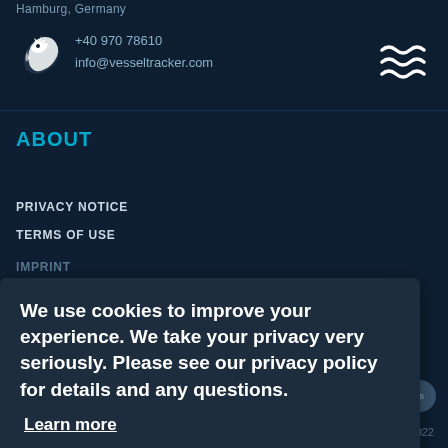Hamburg, Germany | +40 970 78610 | info@vesseltracker.com
ABOUT
PRIVACY NOTICE
TERMS OF USE
IMPRINT
CONTACT
We use cookies to improve your experience. We take your privacy very seriously. Please see our privacy policy for details and any questions.
Learn more
Opt-out | Allow cookies
EXPLORE
SOCIAL
PRODUCTS
VESSELS
PORTS
NEWS
ABOUT
© vesseltracker 2022